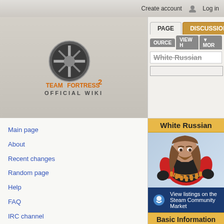Create account  Log in
[Figure (logo): Team Fortress 2 Official Wiki logo with TF2 logo mark and text]
PAGE  DISCUSSION  SOURCE  VIEW H  MORE
White Russian (title bar with search)
White Russian
[Figure (illustration): Team Fortress 2 Heavy character wearing the White Russian cosmetic item - long brown hair]
View listings on the Steam Community Market
Basic Information
Main page
About
Recent changes
Random page
Help
FAQ
IRC channel
Tools
What links here
Related changes
Special pages
Printable version
Permanent link
| Worn by: |
| --- |
| Heavy |